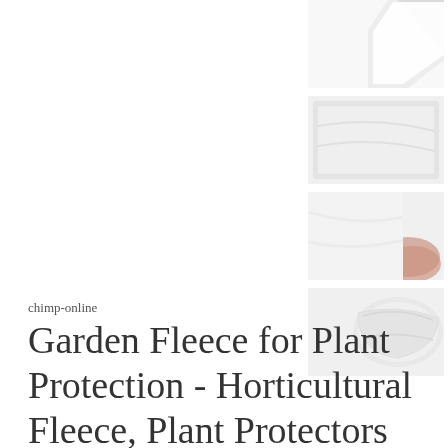[Figure (photo): Product thumbnail 1 – white fleece fabric folded, top corner visible]
[Figure (photo): Product thumbnail 2 – white fleece fabric laid flat]
[Figure (photo): Product thumbnail 3 – white fleece being held/stretched]
[Figure (photo): Product thumbnail 4 – white fleece fabric rolled/folded]
chimp-online
Garden Fleece for Plant Protection - Horticultural Fleece, Plant Protectors from Animals, Heat, UV